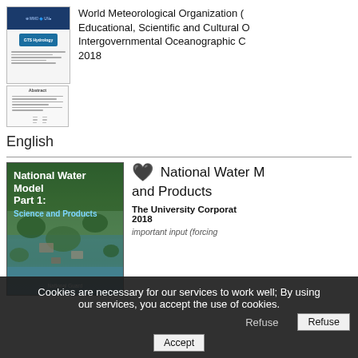[Figure (photo): Thumbnail of a WMO/IOC document cover with blue header and organizational logos]
World Meteorological Organization (... Educational, Scientific and Cultural O... Intergovernmental Oceanographic C... 2018
[Figure (photo): Second thumbnail showing a document with text lines]
English
[Figure (photo): Book cover of National Water Model Part 1: Science and Products, showing aerial flood imagery]
National Water Model Part 1: and Products
The University Corporat... 2018
important input (forcing...
the National Water Model Part 1 first...
Cookies are necessary for our services to work well; By using our services, you accept the use of cookies.